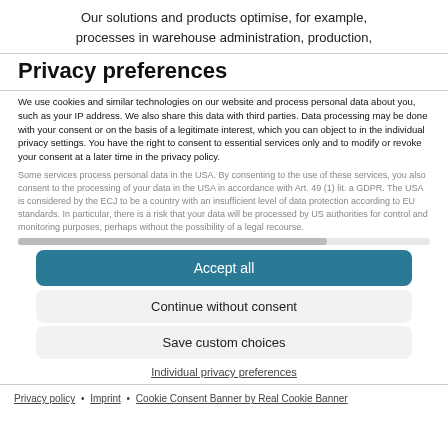Our solutions and products optimise, for example, processes in warehouse administration, production,
Privacy preferences
We use cookies and similar technologies on our website and process personal data about you, such as your IP address. We also share this data with third parties. Data processing may be done with your consent or on the basis of a legitimate interest, which you can object to in the individual privacy settings. You have the right to consent to essential services only and to modify or revoke your consent at a later time in the privacy policy.
Some services process personal data in the USA. By consenting to the use of these services, you also consent to the processing of your data in the USA in accordance with Art. 49 (1) lit. a GDPR. The USA is considered by the ECJ to be a country with an insufficient level of data protection according to EU standards. In particular, there is a risk that your data will be processed by US authorities for control and monitoring purposes, perhaps without the possibility of a legal recourse.
Accept all
Continue without consent
Save custom choices
Individual privacy preferences
Privacy policy • Imprint • Cookie Consent Banner by Real Cookie Banner